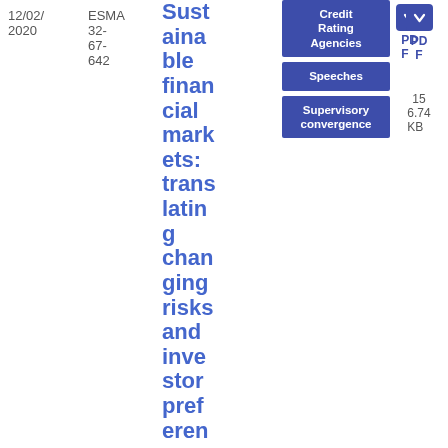12/02/2020
ESMA 32-67-642
Sustainable financial markets: translating changing risks and investor preferences into regulator
Credit Rating Agencies
Speech
Speeches
Supervisory convergence
PDF
15
6.74 KB